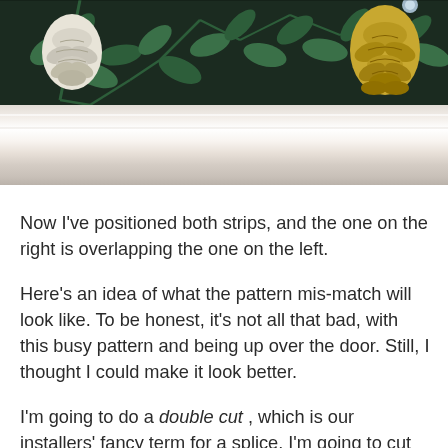[Figure (photo): Photograph of decorative dark wallpaper with floral/botanical pattern (dark green background with white and gold pinecone/floral motifs and green leaves), with a white crown molding or chair rail visible in the lower portion of the image.]
Now I've positioned both strips, and the one on the right is overlapping the one on the left.
Here's an idea of what the pattern mis-match will look like. To be honest, it's not all that bad, with this busy pattern and being up over the door. Still, I thought I could make it look better.
I'm going to do a double cut , which is our installers' fancy term for a splice. I'm going to cut through the two strips, splicing them together, cutting along the vertical foliage elements, to minimize cut-off motifs and to disguise the